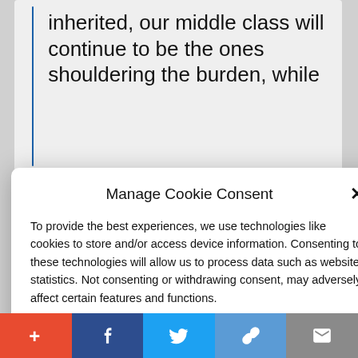inherited, our middle class will continue to be the ones shouldering the burden, while
Manage Cookie Consent
To provide the best experiences, we use technologies like cookies to store and/or access device information. Consenting to these technologies will allow us to process data such as website statistics. Not consenting or withdrawing consent, may adversely affect certain features and functions.
Accept
Cookie Policy   Privacy Policy
spending $50 million to allow an
+ f Twitter link mail